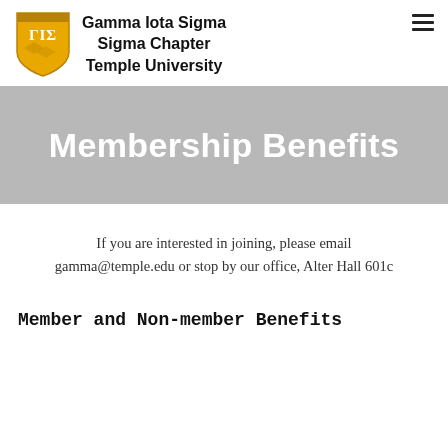Gamma Iota Sigma Sigma Chapter Temple University
Membership Benefits
If you are interested in joining, please email gamma@temple.edu or stop by our office, Alter Hall 601c
Member and Non-member Benefits